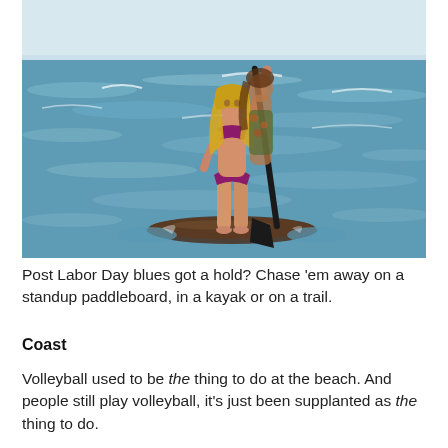[Figure (photo): A person standing on a standup paddleboard in open ocean water, holding a paddle, wearing a bikini. Another person is partially visible behind. The ocean has waves and is a blue-grey color.]
Post Labor Day blues got a hold? Chase 'em away on a standup paddleboard, in a kayak or on a trail.
Coast
Volleyball used to be the thing to do at the beach. And people still play volleyball, it's just been supplanted as the thing to do.